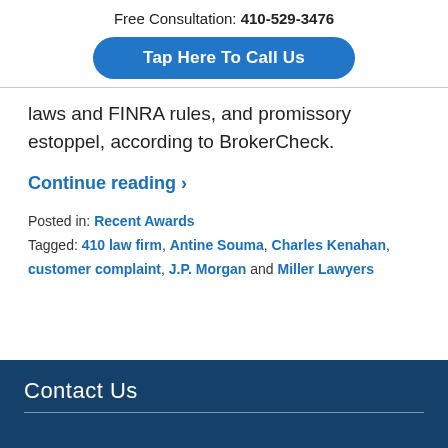Free Consultation: 410-529-3476
Tap Here To Call Us
laws and FINRA rules, and promissory estoppel, according to BrokerCheck.
Continue reading ›
Posted in: Recent Awards
Tagged: 410 law firm, Antine Souma, Charles Kenahan, customer complaint, J.P. Morgan and Miller Lawyers
Contact Us